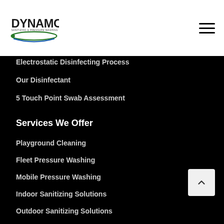Dynamo Sanitizing & Pressure Washing
Electrostatic Disinfecting Process
Our Disinfectant
5 Touch Point Swab Assessment
Services We Offer
Playground Cleaning
Fleet Pressure Washing
Mobile Pressure Washing
Indoor Sanitizing Solutions
Outdoor Sanitizing Solutions
Get In Touch